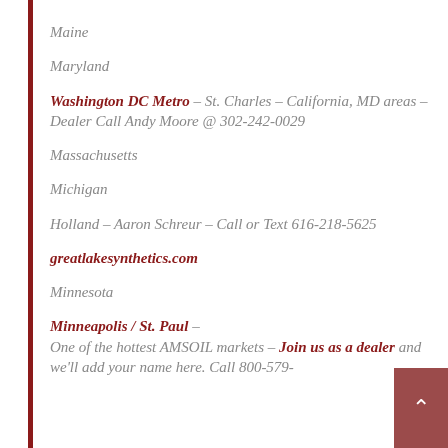Maine
Maryland
Washington DC Metro – St. Charles – California, MD areas – Dealer Call Andy Moore @ 302-242-0029
Massachusetts
Michigan
Holland – Aaron Schreur – Call or Text 616-218-5625
greatlakesynthetics.com
Minnesota
Minneapolis / St. Paul – One of the hottest AMSOIL markets – Join us as a dealer and we'll add your name here. Call 800-579-